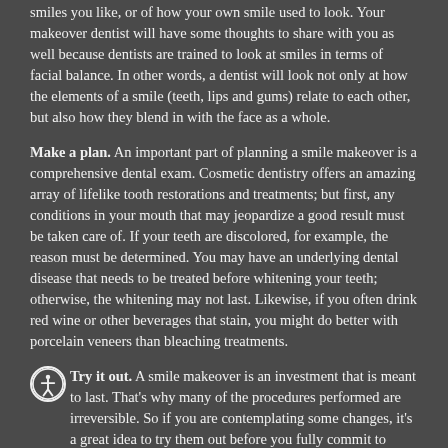smiles you like, or of how your own smile used to look. Your makeover dentist will have some thoughts to share with you as well because dentists are trained to look at smiles in terms of facial balance. In other words, a dentist will look not only at how the elements of a smile (teeth, lips and gums) relate to each other, but also how they blend in with the face as a whole.
Make a plan. An important part of planning a smile makeover is a comprehensive dental exam. Cosmetic dentistry offers an amazing array of lifelike tooth restorations and treatments; but first, any conditions in your mouth that may jeopardize a good result must be taken care of. If your teeth are discolored, for example, the reason must be determined. You may have an underlying dental disease that needs to be treated before whitening your teeth; otherwise, the whitening may not last. Likewise, if you often drink red wine or other beverages that stain, you might do better with porcelain veneers than bleaching treatments.
Try it out. A smile makeover is an investment that is meant to last. That's why many of the procedures performed are irreversible. So if you are contemplating some changes, it's a great idea to try them out before you fully commit to them.